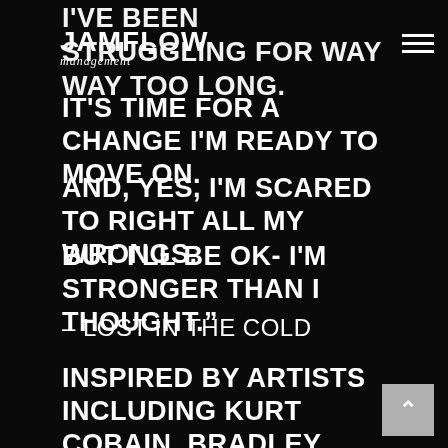JAMFLOW management
I'VE BEEN STRUGGLING FOR WAY WAY TOO LONG. IT'S TIME FOR A CHANGE I'M READY TO MOVE ON.
AND, YES, I'M SCARED TO RIGHT ALL MY WRONGS.
BUT I'LL BE OK- I'M STRONGER THAN I THOUGHT."
– LOST IN THE COLD
INSPIRED BY ARTISTS INCLUDING KURT COBAIN, BRADLEY NOWELL AND BOB MARLEY, MIHALI'S MUSIC CARRIES A PASSIONATE INTENT FOR GOOD. DURING HIS TWELVE YEARS WITH TWIDDLE, MIHALI HAS